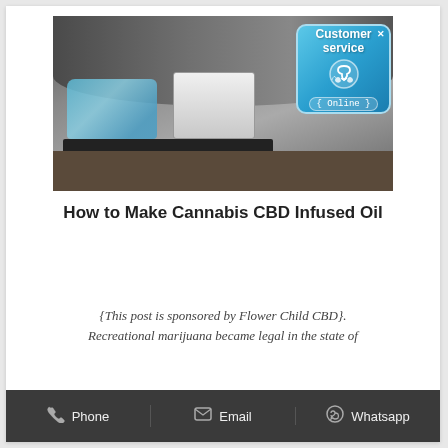[Figure (photo): Industrial equipment on a pallet in a warehouse — machinery wrapped in blue plastic sheeting next to a white machine, with large cylindrical tanks in the background. A 'Customer service Online' badge overlays the top-right corner of the photo.]
How to Make Cannabis CBD Infused Oil
{This post is sponsored by Flower Child CBD}. Recreational marijuana became legal in the state of
Phone   Email   Whatsapp